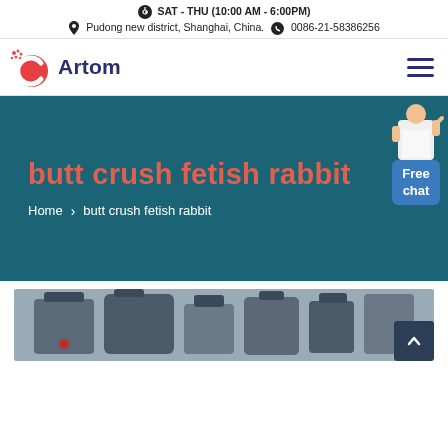SAT - THU (10:00 AM - 6:00PM)
Pudong new district, Shanghai, China.  0086-21-58386256
[Figure (logo): Artom company logo with red C icon and dark blue Artom text]
butt crush fetish rabbit
Home > butt crush fetish rabbit
[Figure (photo): Industrial machine equipment, dark metal cylindrical components photographed from above/side]